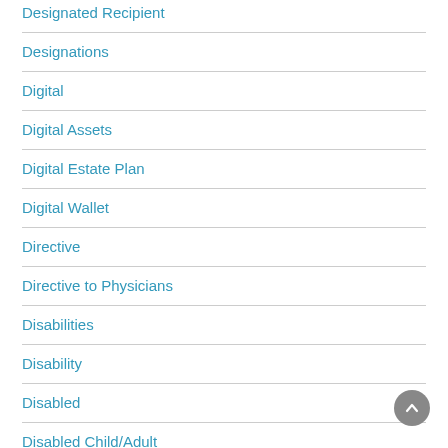Designated Recipient
Designations
Digital
Digital Assets
Digital Estate Plan
Digital Wallet
Directive
Directive to Physicians
Disabilities
Disability
Disabled
Disabled Child/Adult
Disabled Individual